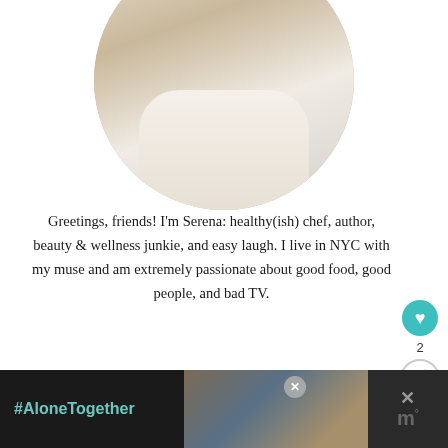[Figure (photo): Circular cropped photo of a woman (Serena) in a kitchen, with a circular frame, partially cropped at top]
Greetings, friends! I'm Serena: healthy(ish) chef, author, beauty & wellness junkie, and easy laugh. I live in NYC with my muse and am extremely passionate about good food, good people, and bad TV.
[Figure (other): Heart/like button (teal circular) with count of 2, and share button below]
[Figure (other): Green olive button labeled DROP ME A LINE]
[Figure (other): What's Next panel with small circular food thumbnail and text: Grilled Vegetable...]
[Figure (other): Bottom advertisement bar with #AloneTogether text in teal on dark background, and a photo of two people waving]